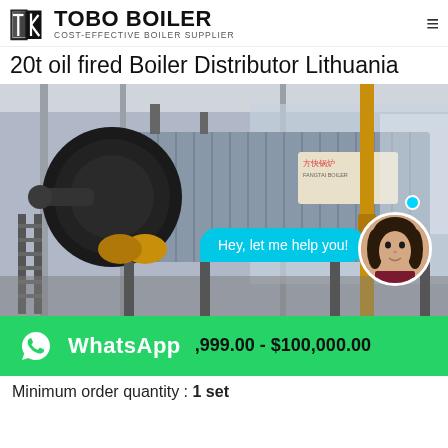[Figure (logo): TOBO BOILER logo with shield/arrow icon and tagline COST-EFFECTIVE BOILER SUPPLIER]
20t oil fired Boiler Distributor Lithuania
[Figure (photo): Industrial oil-fired boiler in a factory/warehouse setting. Large horizontal boiler vessel with corrugated metal cladding, black burner assembly, yellow gas piping, metal staircase. Brand sign reads 方快锅炉. Cyan chat bubble overlay reads 'Hey, let me help you!' with female avatar.]
[Figure (logo): WhatsApp green banner with phone icon and WhatsApp text, price $,999.00 - $100,000.00]
Minimum order quantity : 1 set